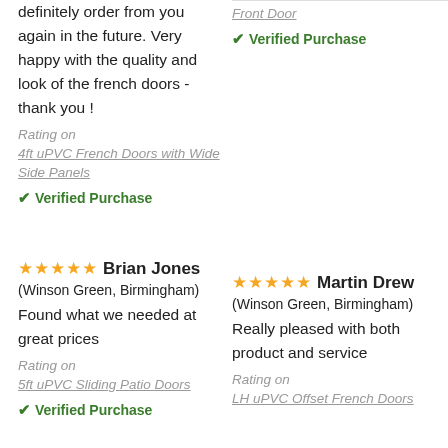definitely order from you again in the future. Very happy with the quality and look of the french doors - thank you !
Rating on
4ft uPVC French Doors with Wide Side Panels
✔ Verified Purchase
Front Door
✔ Verified Purchase
★★★★★ Brian Jones
(Winson Green, Birmingham)
Found what we needed at great prices
Rating on
5ft uPVC Sliding Patio Doors
✔ Verified Purchase
★★★★★ Martin Drew
(Winson Green, Birmingham)
Really pleased with both product and service
Rating on
LH uPVC Offset French Doors